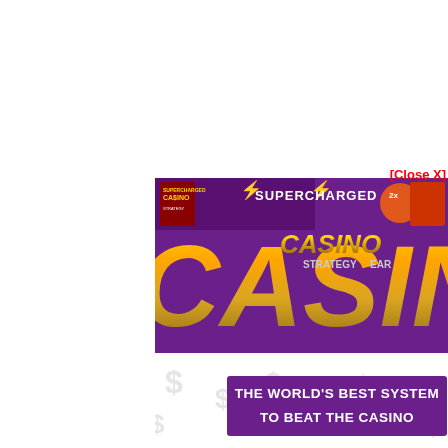[Close X]
[Figure (illustration): Supercharged Casino promotional banner image with large gold metallic 'CASINO' text on a purple background with dollar signs scattered around, and a purple banner at the bottom reading 'THE WORLD'S BEST SYSTEM TO BEAT THE CASINO']